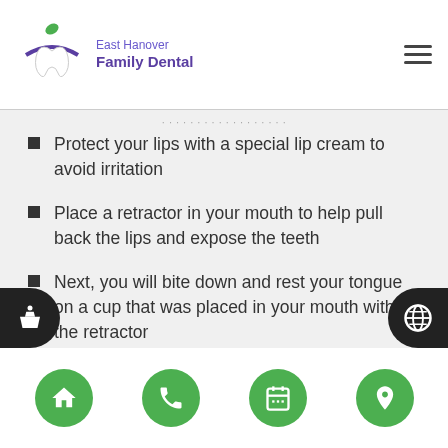East Hanover Family Dental
Protect your lips with a special lip cream to avoid irritation
Place a retractor in your mouth to help pull back the lips and expose the teeth
Next, you will bite down and rest your tongue on a cup that was placed in your mouth with the retractor
We will use a shade guide so that you can determine how white you want your teeth to be
After taking a photo of your teeth, we will place gauze inside of your mouth and a bib around your face, while giving you protective eyewear
Home | Phone | Appointment | Location